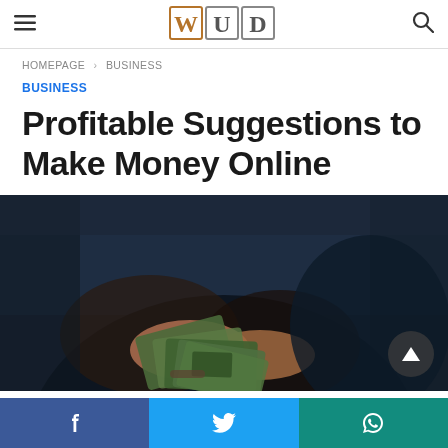WUD — Hamburger menu, logo, search icon
HOMEPAGE > BUSINESS
BUSINESS
Profitable Suggestions to Make Money Online
[Figure (photo): Person in dark clothing counting US dollar bills with both hands, dark background]
Social share bar: Facebook, Twitter, WhatsApp